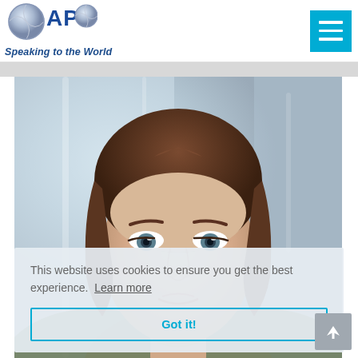[Figure (logo): APB logo with globe graphic and text 'APB' in blue/silver, tagline 'Speaking to the World' in italic blue]
[Figure (photo): Close-up portrait photo of a woman with brown hair, looking directly at camera, professional headshot style, blurred light background]
This website uses cookies to ensure you get the best experience.  Learn more
Got it!